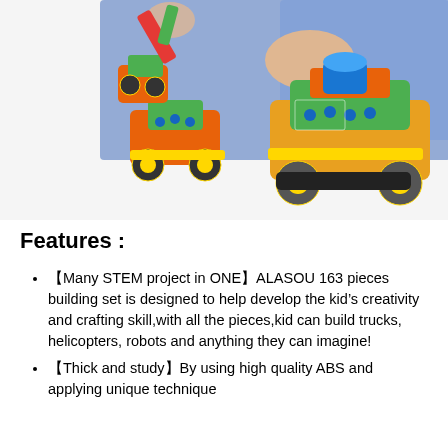[Figure (photo): A child playing with colorful STEM building toy sets — two assembled vehicle models (trucks/robots) on the left made of orange, green, and yellow plastic pieces with wheels and bolts, and a larger bulldozer/construction vehicle on the right, with a child's hands visible in the background.]
Features :
【Many STEM project in ONE】ALASOU 163 pieces building set is designed to help develop the kid's creativity and crafting skill,with all the pieces,kid can build trucks, helicopters, robots and anything they can imagine!
【Thick and study】By using high quality ABS and applying unique technique